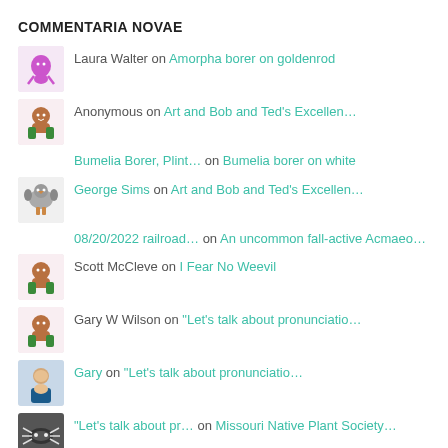COMMENTARIA NOVAE
Laura Walter on Amorpha borer on goldenrod
Anonymous on Art and Bob and Ted’s Excellen…
Bumelia Borer, Plint… on Bumelia borer on white
George Sims on Art and Bob and Ted’s Excellen…
08/20/2022 railroad… on An uncommon fall-active Acmaeo…
Scott McCleve on I Fear No Weevil
Gary W Wilson on “Let’s talk about pronunciatio…
Gary on “Let’s talk about pronunciatio…
“Let’s talk about pr… on Missouri Native Plant Society…
D. Christopher Roger… on “Let’s talk about pronunciatio…